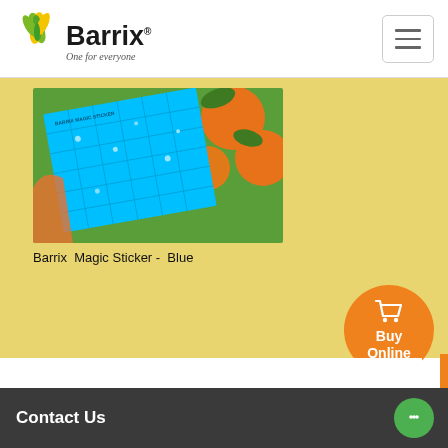[Figure (logo): Barrix logo with stylized yellow-green leaf/plant graphic, company name 'Barrix' in bold black text, registered trademark symbol, and italic tagline 'One for everyone']
[Figure (photo): Photo of a blue Barrix Magic Sticker sticky trap card with grid lines and water droplets, held against a background of orange citrus fruits on a tree]
Barrix  Magic Sticker -  Blue
[Figure (other): Orange circular button with shopping cart icon and 'Buy Online' text in white]
Contact Us